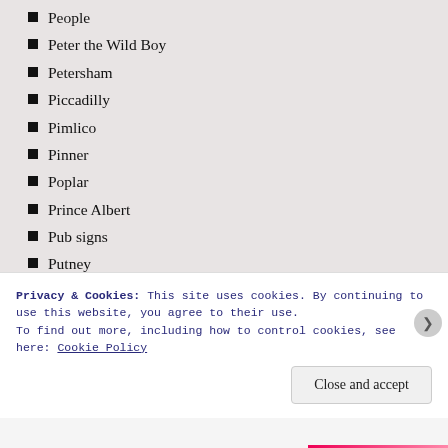People
Peter the Wild Boy
Petersham
Piccadilly
Pimlico
Pinner
Poplar
Prince Albert
Pub signs
Putney
Queen's Platinum Jubilee
Queens of England
Railways
Rainham
Regency
Privacy & Cookies: This site uses cookies. By continuing to use this website, you agree to their use.
To find out more, including how to control cookies, see here: Cookie Policy